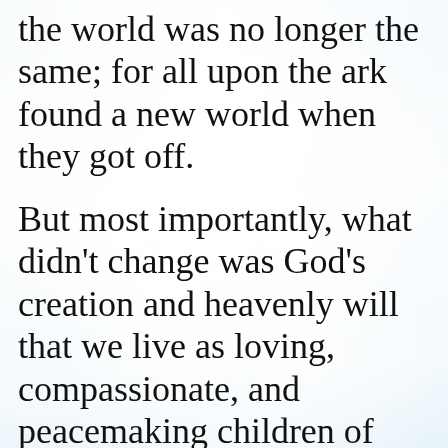the world was no longer the same; for all upon the ark found a new world when they got off.
But most importantly, what didn't change was God's creation and heavenly will that we live as loving, compassionate, and peacemaking children of God, who do everything in their free will power to protect and care for the whole of God's beautiful